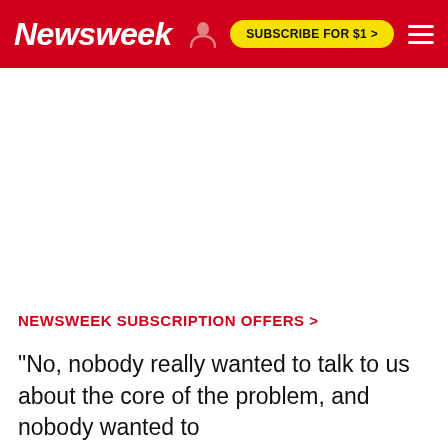Newsweek   SUBSCRIBE FOR $1 >
NEWSWEEK SUBSCRIPTION OFFERS >
"No, nobody really wanted to talk to us about the core of the problem, and nobody wanted to